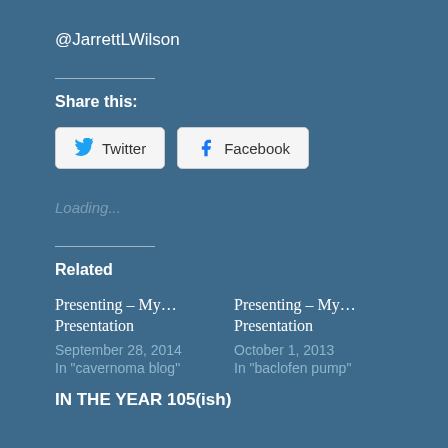@JarrettLWilson
Share this:
[Figure (other): Twitter and Facebook share buttons]
Loading...
Related
Presenting – My... Presentation
September 28, 2014
In "cavernoma blog"
Presenting – My... Presentation
October 1, 2013
In "baclofen pump"
IN THE YEAR 105(ish)